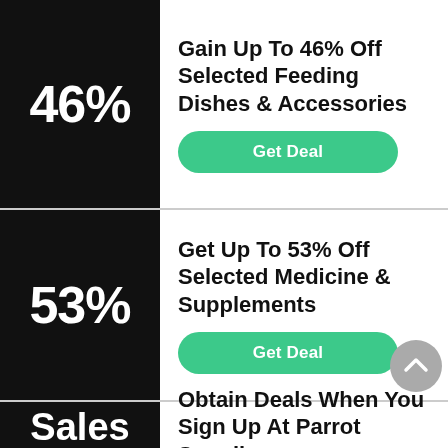46%
Gain Up To 46% Off Selected Feeding Dishes & Accessories
Get Deal
53%
Get Up To 53% Off Selected Medicine & Supplements
Get Deal
Sales
Obtain Deals When You Sign Up At Parrot Supplies